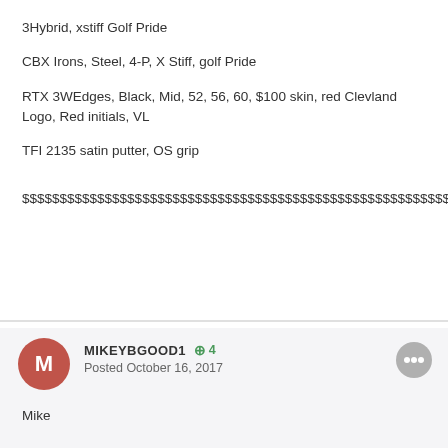3Hybrid, xstiff Golf Pride
CBX Irons, Steel, 4-P, X Stiff, golf Pride
RTX 3WEdges, Black, Mid, 52, 56, 60, $100 skin, red Clevland Logo, Red initials, VL
TFI 2135 satin putter, OS grip
$$$$$$$$$$$$$$$$$$$$$$$$$$$$$$$$$$$$$$$$$$$$$$$$$$$$$$$$$$$$$$$$$$$$$$$$$$$
MIKEYBGOOD1  +4
Posted October 16, 2017
Mike